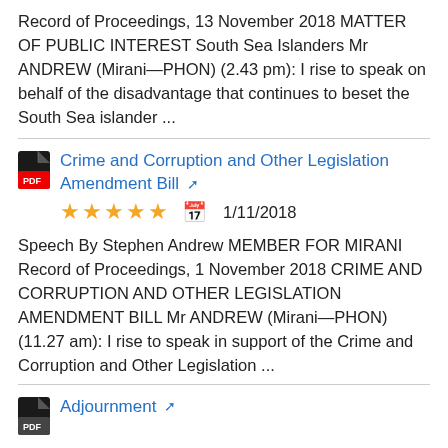Record of Proceedings, 13 November 2018 MATTER OF PUBLIC INTEREST South Sea Islanders Mr ANDREW (Mirani—PHON) (2.43 pm): I rise to speak on behalf of the disadvantage that continues to beset the South Sea islander ...
Crime and Corruption and Other Legislation Amendment Bill
★★★★★  1/11/2018
Speech By Stephen Andrew MEMBER FOR MIRANI Record of Proceedings, 1 November 2018 CRIME AND CORRUPTION AND OTHER LEGISLATION AMENDMENT BILL Mr ANDREW (Mirani—PHON) (11.27 am): I rise to speak in support of the Crime and Corruption and Other Legislation ...
Adjournment